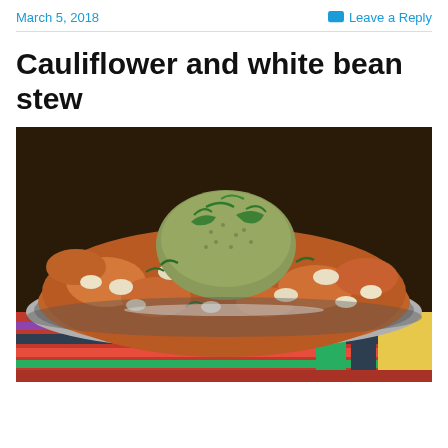March 5, 2018    Leave a Reply
Cauliflower and white bean stew
[Figure (photo): A bowl of cauliflower and white bean stew with a mound of quinoa in the center, garnished with fresh herbs (green onion/parsley), on a colorful plaid/striped tablecloth]